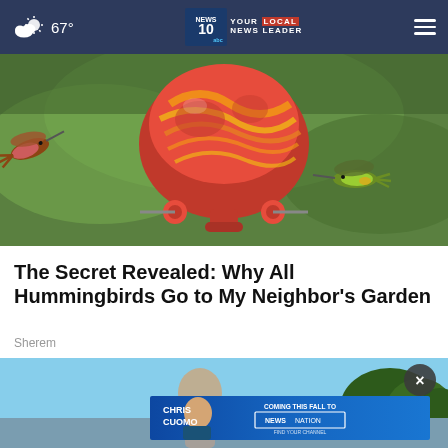67° | NEWS10 YOUR LOCAL NEWS LEADER
[Figure (photo): Hummingbirds near a decorative red and yellow glass hummingbird feeder with blurred green background]
The Secret Revealed: Why All Hummingbirds Go to My Neighbor's Garden
Sherem
[Figure (photo): Advertisement: Chris Cuomo Coming This Fall to NewsNation. Find your channel.]